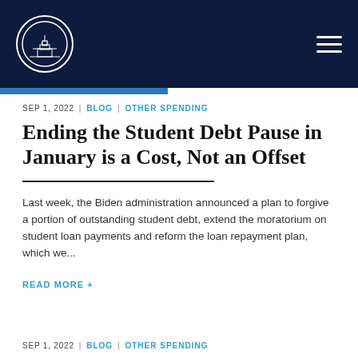Navigation header with logo and menu
SEP 1, 2022  |  BLOG  |  OTHER SPENDING
Ending the Student Debt Pause in January is a Cost, Not an Offset
Last week, the Biden administration announced a plan to forgive a portion of outstanding student debt, extend the moratorium on student loan payments and reform the loan repayment plan, which we...
READ MORE +
SEP 1, 2022  |  BLOG  |  OTHER SPENDING